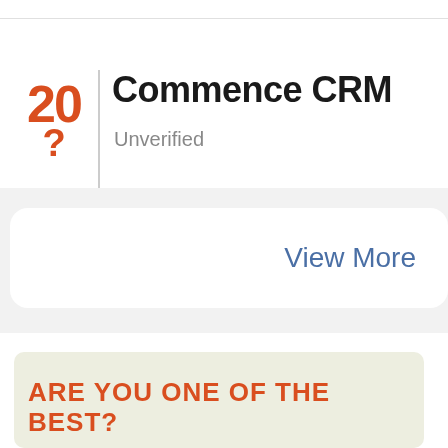Commence CRM
Unverified
View More
ARE YOU ONE OF THE BEST?